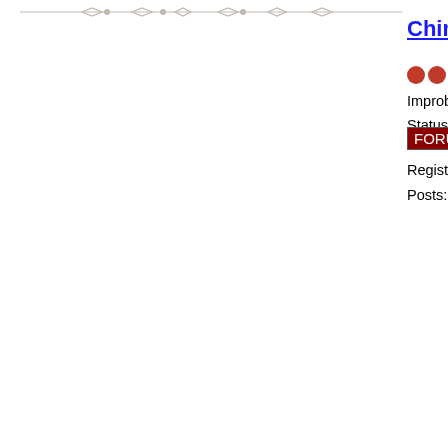[Figure (illustration): Decorative horizontal divider line with diamond/arrow shapes, gray colored]
Chimental
Improbable Badass
Status: offline
Registered: 06/30/09
Posts: 371
Saturday, June 05
Quote by: Count+S
I'm thinking a mix of...
MoTDs, information...
flow of good stuff, t...
Plus, of course -- an...
Yes, a place for Play...
*shiftyeyes*
I make the many m...
vegetables, animal...
...b...les.
Profile   Email
[Figure (illustration): Decorative horizontal divider line with diamond/arrow shapes, gray colored]
Baker
Newbie
Status: offline
Saturday, June 05
Sessine makes a go...
I guess what I'm int...
to newbies. I'm app...